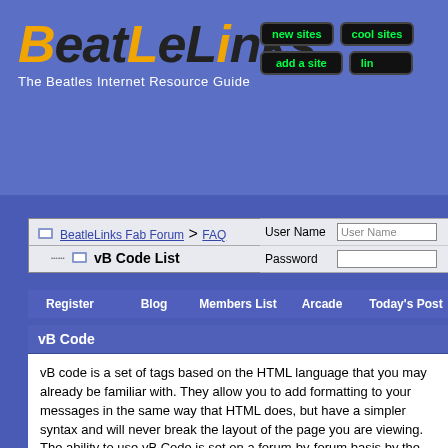[Figure (logo): BeatleLinks logo with orange/black stylized text and tagline 'The Beatles Internet Resource Guide']
[Figure (screenshot): Navigation buttons: new sites, cool sites, add a site, lin(ks)]
BeatleLinks Fab Forum > FAQ | vB Code List | User Name | Password | Register | Blog | Members List | Arcade | Today's Post
vB Code
vB code is a set of tags based on the HTML language that you may already be familiar with. They allow you to add formatting to your messages in the same way that HTML does, but have a simpler syntax and will never break the layout of the pages you are viewing. The ability to use vB Code is set on a forum-by-forum basis by the administrator, so you should check the forum rules when you post a new message.
Below is a list of the vB Codes you can use to format your messages.
vB Code List
|  |  |
| --- | --- |
| [b], [i], [u] | Bold / Italic / Underli... |